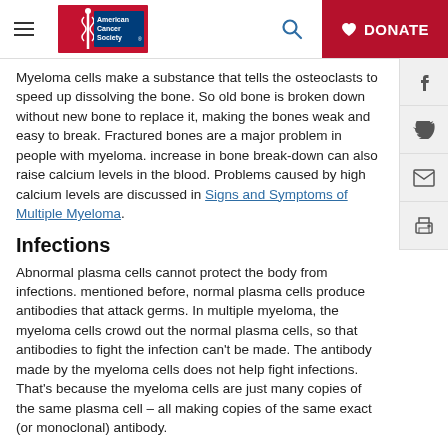American Cancer Society — DONATE
Myeloma cells make a substance that tells the osteoclasts to speed up dissolving the bone. So old bone is broken down without new bone to replace it, making the bones weak and easy to break. Fractured bones are a major problem in people with myeloma. increase in bone break-down can also raise calcium levels in the blood. Problems caused by high calcium levels are discussed in Signs and Symptoms of Multiple Myeloma.
Infections
Abnormal plasma cells cannot protect the body from infections. mentioned before, normal plasma cells produce antibodies that attack germs. In multiple myeloma, the myeloma cells crowd out the normal plasma cells, so that antibodies to fight the infection can't be made. The antibody made by the myeloma cells does not help fight infections. That's because the myeloma cells are just many copies of the same plasma cell – all making copies of the same exact (or monoclonal) antibody.
Kidney problems
Myeloma cells make an antibody that can harm the kidneys, leading